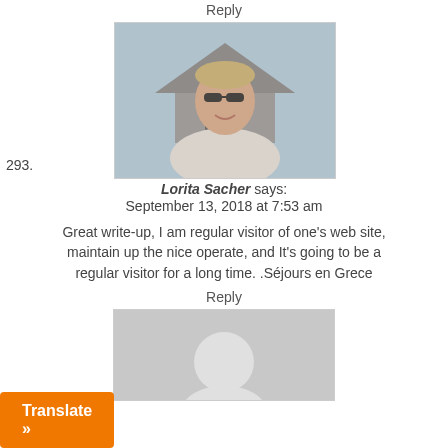Reply
[Figure (photo): Profile photo of a young man wearing sunglasses and a white shirt, standing in front of a house, with number 293. label]
Lorita Sacher says:
September 13, 2018 at 7:53 am
Great write-up, I am regular visitor of one's web site, maintain up the nice operate, and It's going to be a regular visitor for a long time. .Séjours en Grece
Reply
[Figure (photo): Gray placeholder avatar image]
Translate »